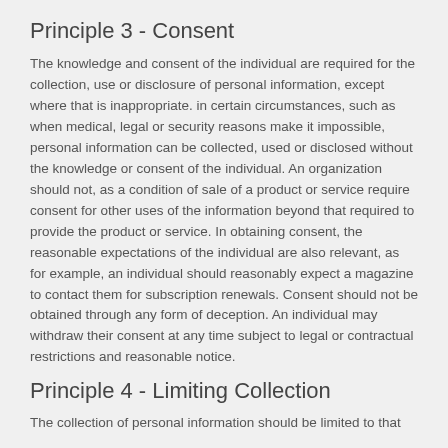Principle 3 - Consent
The knowledge and consent of the individual are required for the collection, use or disclosure of personal information, except where that is inappropriate. in certain circumstances, such as when medical, legal or security reasons make it impossible, personal information can be collected, used or disclosed without the knowledge or consent of the individual. An organization should not, as a condition of sale of a product or service require consent for other uses of the information beyond that required to provide the product or service. In obtaining consent, the reasonable expectations of the individual are also relevant, as for example, an individual should reasonably expect a magazine to contact them for subscription renewals. Consent should not be obtained through any form of deception. An individual may withdraw their consent at any time subject to legal or contractual restrictions and reasonable notice.
Principle 4 - Limiting Collection
The collection of personal information should be limited to that